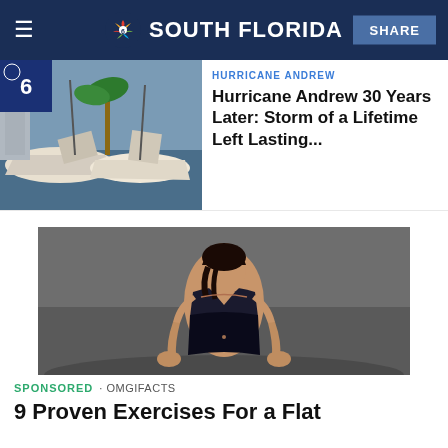NBC 6 SOUTH FLORIDA | SHARE
HURRICANE ANDREW
Hurricane Andrew 30 Years Later: Storm of a Lifetime Left Lasting...
[Figure (photo): Boats damaged and piled up, hurricane aftermath scene]
[Figure (photo): Woman in dark athletic wear bending forward, fitness/exercise context]
SPONSORED · OMGIFACTS
9 Proven Exercises For a Flat Stomach